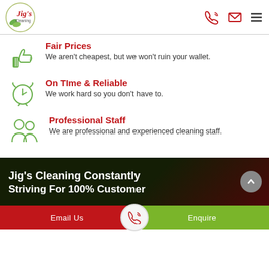[Figure (logo): Jig's Cleaning logo with green leaf circle and red text]
Fair Prices
We aren't cheapest, but we won't ruin your wallet.
On TIme & Reliable
We work hard so you don't have to.
Professional Staff
We are professional and experienced cleaning staff.
Jig's Cleaning Constantly Striving For 100% Customer
Email Us   Enquire